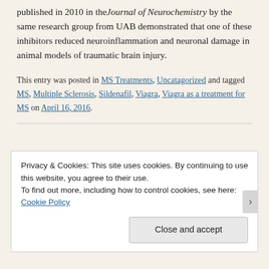published in 2010 in the Journal of Neurochemistry by the same research group from UAB demonstrated that one of these inhibitors reduced neuroinflammation and neuronal damage in animal models of traumatic brain injury.
This entry was posted in MS Treatments, Uncatagorized and tagged MS, Multiple Sclerosis, Sildenafil, Viagra, Viagra as a treatment for MS on April 16, 2016.
Privacy & Cookies: This site uses cookies. By continuing to use this website, you agree to their use.
To find out more, including how to control cookies, see here: Cookie Policy